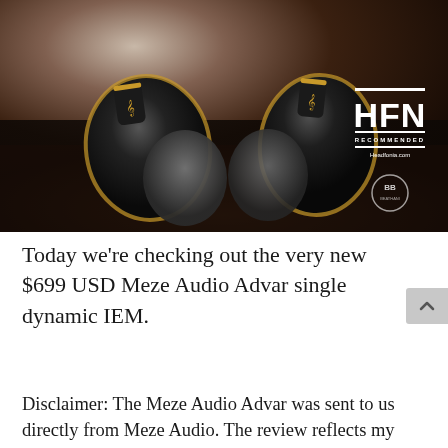[Figure (photo): Close-up photo of two Meze Audio Advar in-ear monitors (IEMs) with black body and gold accents, placed on a dark textured surface. HFN Recommended badge visible in upper right, along with a BB photographer circle logo.]
Today we're checking out the very new $699 USD Meze Audio Advar single dynamic IEM.
Disclaimer: The Meze Audio Advar was sent to us directly from Meze Audio. The review reflects my